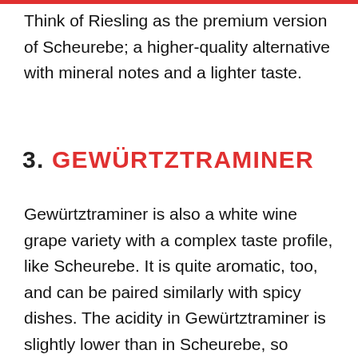Think of Riesling as the premium version of Scheurebe; a higher-quality alternative with mineral notes and a lighter taste.
3. GEWÜRTZTRAMINER
Gewürtztraminer is also a white wine grape variety with a complex taste profile, like Scheurebe. It is quite aromatic, too, and can be paired similarly with spicy dishes. The acidity in Gewürtztraminer is slightly lower than in Scheurebe, so